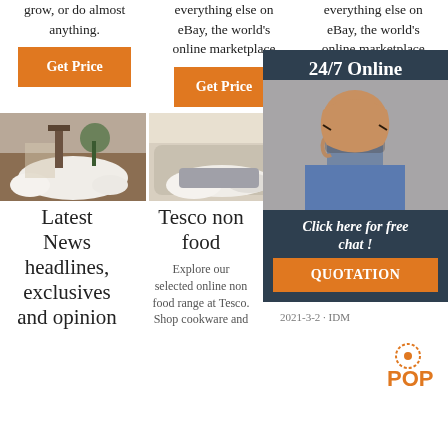grow, or do almost anything.
everything else on eBay, the world's online marketplace
everything else on eBay, the world's online marketplace
Get Price
Get Price
G
[Figure (photo): White fluffy sheepskin rug on hardwood floor with chair in background]
[Figure (photo): White and grey sheepskin rug on a beige sofa]
[Figure (photo): White sheepskin rug on floor, partially visible]
[Figure (infographic): 24/7 Online popup with woman wearing headset, Click here for free chat, QUOTATION button]
Latest News headlines, exclusives and opinion
Tesco non food
Explore our selected online non food range at Tesco. Shop cookware and
Health & Safety Meeting Dates
2021-3-2 · IDM